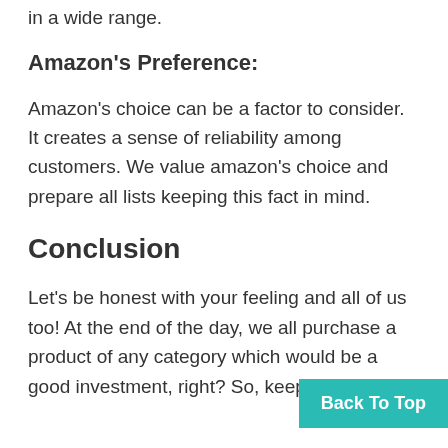in a wide range.
Amazon's Preference:
Amazon's choice can be a factor to consider. It creates a sense of reliability among customers. We value amazon's choice and prepare all lists keeping this fact in mind.
Conclusion
Let's be honest with your feeling and all of us too! At the end of the day, we all purchase a product of any category which would be a good investment, right? So, keeping all the